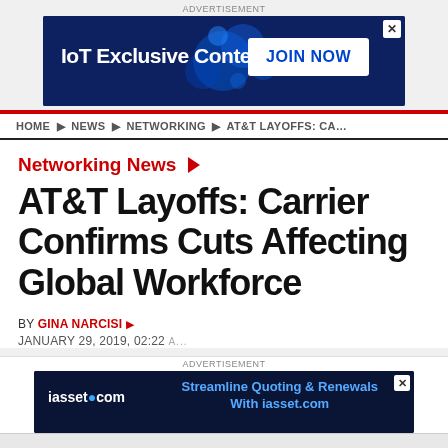[Figure (screenshot): IoT Exclusive Content advertisement banner with JOIN NOW button]
HOME ▶ NEWS ▶ NETWORKING ▶ AT&T LAYOFFS: CA...
Networking News ▶
AT&T Layoffs: Carrier Confirms Cuts Affecting Global Workforce
BY GINA NARCISI ▶
JANUARY 29, 2019, 02:22
[Figure (screenshot): iasset.com advertisement: Streamline Quoting & Renewals With iasset.com]